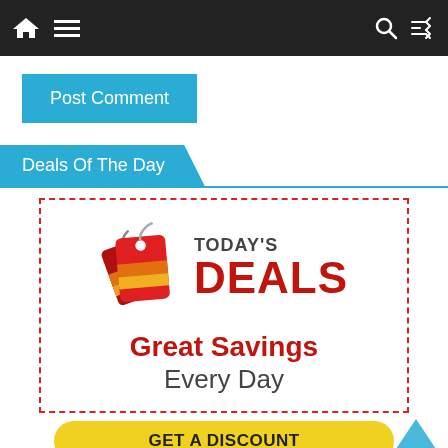[Figure (screenshot): Navigation bar with home icon, hamburger menu, search icon, and shuffle icon on dark background]
Post Comment
Deals Of The Day
[Figure (infographic): Today's Deals advertisement banner with price tag icon, 'Great Savings Every Day' text in red and gray, dashed red border]
GET A DISCOUNT